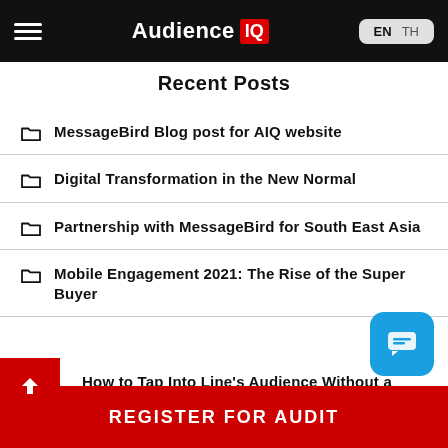Audience IQ — EN TH
Recent Posts
MessageBird Blog post for AIQ website
Digital Transformation in the New Normal
Partnership with MessageBird for South East Asia
Mobile Engagement 2021: The Rise of the Super Buyer
How to Tap Into Line's Audience Without a Large CRM Platform (or Budget)
REGISTER FOR AUDIT